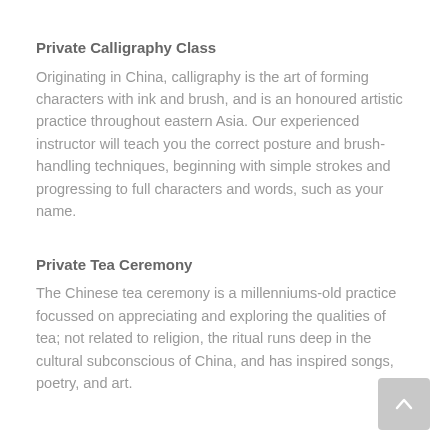Private Calligraphy Class
Originating in China, calligraphy is the art of forming characters with ink and brush, and is an honoured artistic practice throughout eastern Asia. Our experienced instructor will teach you the correct posture and brush-handling techniques, beginning with simple strokes and progressing to full characters and words, such as your name.
Private Tea Ceremony
The Chinese tea ceremony is a millenniums-old practice focussed on appreciating and exploring the qualities of tea; not related to religion, the ritual runs deep in the cultural subconscious of China, and has inspired songs, poetry, and art.